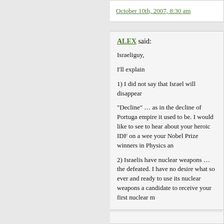October 10th, 2007, 8:30 am
ALEX said:

Israeliguy,

I'll explain

1) I did not say that Israel will disappear

"Decline" … as in the decline of Portugal, empire it used to be. I would like to see to hear about your heroic IDF on a weekly your Nobel Prize winners in Physics and

2) Israelis have nuclear weapons … the defeated. I have no desire what so ever and ready to use its nuclear weapons a candidate to receive your first nuclear m

You know … with all my criticism to this wish to see the United States lose the w losing the war… Because it is the least

My friend, I just want to minimize violen Middle East and around the world.

Ok?

October 10th, 2007, 8:57 am